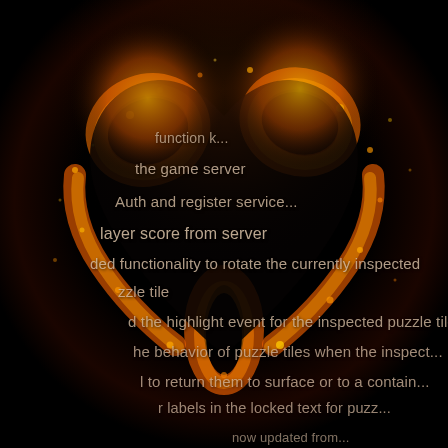[Figure (illustration): A dramatic heart shape made of fire and flames against a black background, with orange and red glowing embers forming the heart outline.]
function k...
the game server
Auth and register service...
layer score from server
ded functionality to rotate the currently inspected...
zzle tile
d the highlight event for the inspected puzzle tile...
he behavior of puzzle tiles when the inspect...
l to return them to surface or to a contain...
r labels in the locked text for puzz...
now updated from...